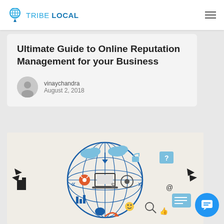TRIBE LOCAL
Ultimate Guide to Online Reputation Management for your Business
vinaychandra
August 2, 2018
[Figure (illustration): Digital globe/internet infographic illustration showing a globe with various internet and technology icons including laptop, sharing icons, cloud, gears, social media elements, and digital connections]